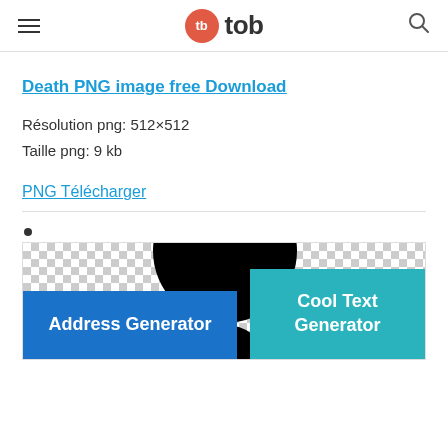tb tob
Death PNG image free Download
Résolution png: 512×512
Taille png: 9 kb
PNG Télécharger
[Figure (illustration): A black skull/death image shown on a transparent checkered background with two ad banners: 'Address Generator' (blue) and 'Cool Text Generator' (teal)]